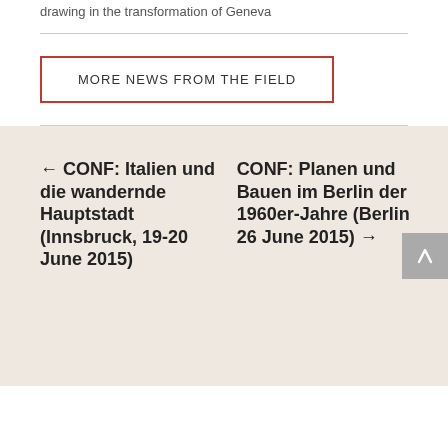drawing in the transformation of Geneva
MORE NEWS FROM THE FIELD
← CONF: Italien und die wandernde Hauptstadt (Innsbruck, 19-20 June 2015)
CONF: Planen und Bauen im Berlin der 1960er-Jahre (Berlin 26 June 2015) →